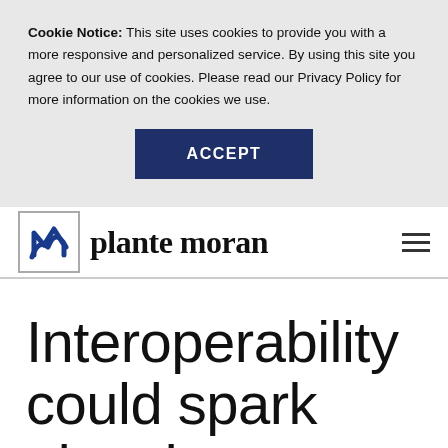Cookie Notice: This site uses cookies to provide you with a more responsive and personalized service. By using this site you agree to our use of cookies. Please read our Privacy Policy for more information on the cookies we use.
ACCEPT
[Figure (logo): Plante Moran logo with stylized 'n' mark in a square box and the text 'plante moran' in bold serif font]
Interoperability could spark electric car wars